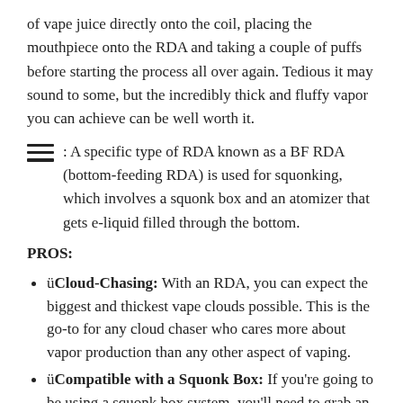of vape juice directly onto the coil, placing the mouthpiece onto the RDA and taking a couple of puffs before starting the process all over again. Tedious it may sound to some, but the incredibly thick and fluffy vapor you can achieve can be well worth it.
≡ : A specific type of RDA known as a BF RDA (bottom-feeding RDA) is used for squonking, which involves a squonk box and an atomizer that gets e-liquid filled through the bottom.
PROS:
ü Cloud-Chasing: With an RDA, you can expect the biggest and thickest vape clouds possible. This is the go-to for any cloud chaser who cares more about vapor production than any other aspect of vaping.
ü Compatible with a Squonk Box: If you're going to be using a squonk box system, you'll need to grab an RDA – more specifically, a bottom-feeding RDA. This is the type of atomizer compatible with this system, in which e-liquid